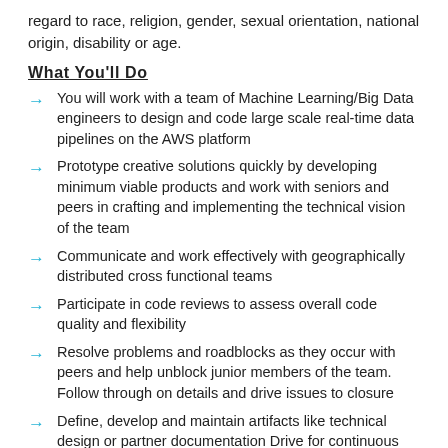regard to race, religion, gender, sexual orientation, national origin, disability or age.
What You'll Do
You will work with a team of Machine Learning/Big Data engineers to design and code large scale real-time data pipelines on the AWS platform
Prototype creative solutions quickly by developing minimum viable products and work with seniors and peers in crafting and implementing the technical vision of the team
Communicate and work effectively with geographically distributed cross functional teams
Participate in code reviews to assess overall code quality and flexibility
Resolve problems and roadblocks as they occur with peers and help unblock junior members of the team. Follow through on details and drive issues to closure
Define, develop and maintain artifacts like technical design or partner documentation Drive for continuous improvement in software and